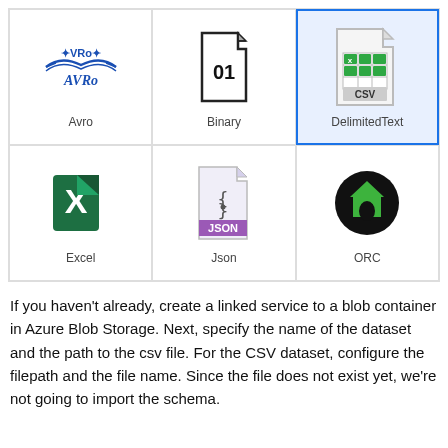[Figure (screenshot): Grid of 6 format icons: Avro (blue winged logo), Binary (document with 01), DelimitedText (CSV spreadsheet icon, selected/highlighted), Excel (green X icon), Json (JSON file icon), ORC (black circle with green house icon). Labels below each icon.]
If you haven't already, create a linked service to a blob container in Azure Blob Storage. Next, specify the name of the dataset and the path to the csv file. For the CSV dataset, configure the filepath and the file name. Since the file does not exist yet, we're not going to import the schema.